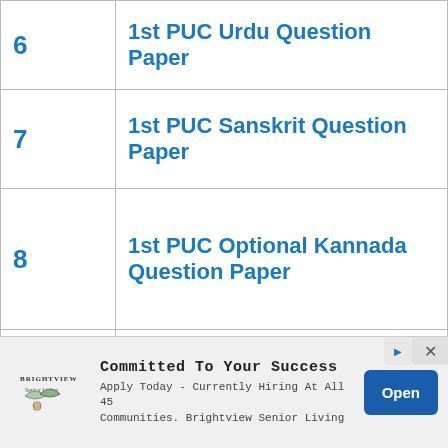| # | Question Paper |
| --- | --- |
| 6 | 1st PUC Urdu Question Paper |
| 7 | 1st PUC Sanskrit Question Paper |
| 8 | 1st PUC Optional Kannada Question Paper |
| 9 | 1st PUC History Question Paper |
| 11 | 1t PUC Economics Question Paper |
| 12 | 1st PUC Logic Question Paper |
[Figure (other): Advertisement banner for Brightview Senior Living: 'Committed To Your Success. Apply Today - Currently Hiring At All 45 Communities. Brightview Senior Living' with Open button.]